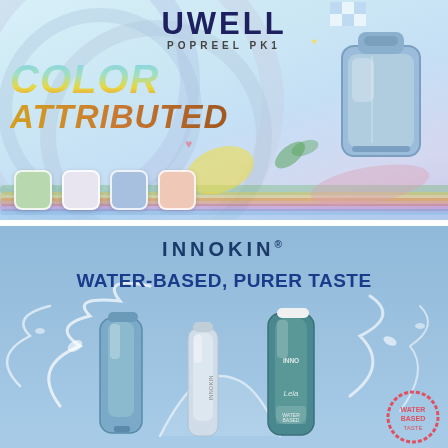[Figure (illustration): UWELL POPREEL PK1 product advertisement with colorful background, decorative swirls, device image, and four color swatches (green, white, blue, pink). Text reads UWELL POPREEL PK1 COLOR ATTRIBUTED.]
[Figure (illustration): INNOKIN brand advertisement with blue water-splash background and three vape device products. Text reads INNOKIN WATER-BASED, PURER TASTE.]